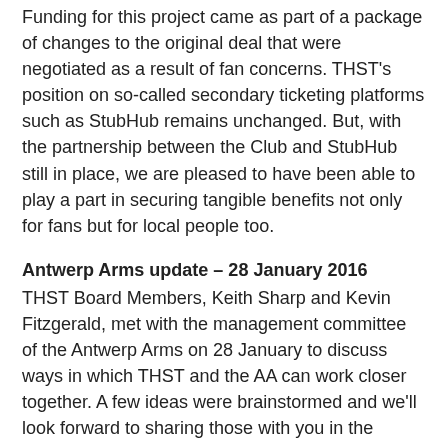Funding for this project came as part of a package of changes to the original deal that were negotiated as a result of fan concerns. THST's position on so-called secondary ticketing platforms such as StubHub remains unchanged. But, with the partnership between the Club and StubHub still in place, we are pleased to have been able to play a part in securing tangible benefits not only for fans but for local people too.
Antwerp Arms update – 28 January 2016
THST Board Members, Keith Sharp and Kevin Fitzgerald, met with the management committee of the Antwerp Arms on 28 January to discuss ways in which THST and the AA can work closer together. A few ideas were brainstormed and we'll look forward to sharing those with you in the February newsletter.
EZTrader commercial partnership with THFC
Earlier in the month, THFC announced a commercial partnership with binary options broker, EZTrader, which caused concern around brand association amongst a number of our members. With EZTrader operating in a totally unregulated market, we approached THFC for